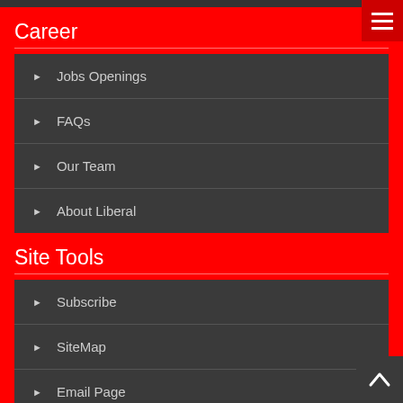Career
Jobs Openings
FAQs
Our Team
About Liberal
Site Tools
Subscribe
SiteMap
Email Page
News & Blog
Search This Site